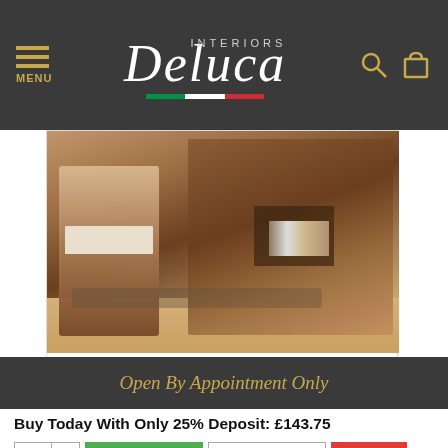Deluca Interiors — MENU, search, cart icons
[Figure (photo): Product photo of Elizabeth Large Italian TV Cabinet Unit Walnut — showing a wooden TV cabinet and a chair on a wood floor]
Elizabeth Large Italian TV Cabinet Unit Wa...
£745.00
Open By Appointment Only
Buy Today With Only 25% Deposit: £143.75
1  [up/down]  [add to cart]  BUY NOW  [wishlist]